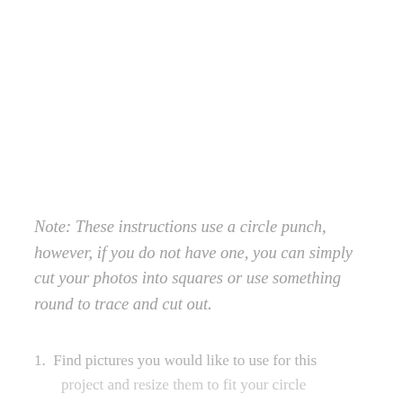Note: These instructions use a circle punch, however, if you do not have one, you can simply cut your photos into squares or use something round to trace and cut out.
1. Find pictures you would like to use for this project and resize them to fit your circle